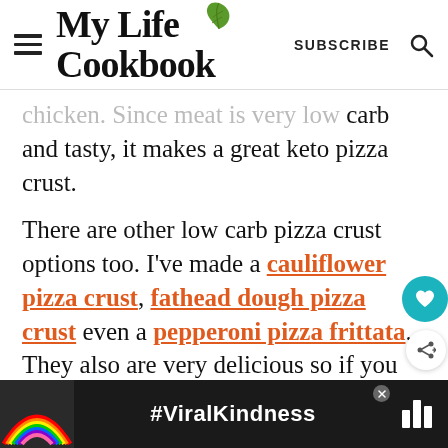My Life Cookbook — SUBSCRIBE
chicken. Since meat is very low carb and tasty, it makes a great keto pizza crust.
There are other low carb pizza crust options too. I've made a cauliflower pizza crust, fathead dough pizza crust even a pepperoni pizza frittata. They also are very delicious so if you are experimenting with low carb pizzas, they are worth a try. Each ta... ...ious
[Figure (other): Advertisement banner with rainbow graphic and #ViralKindness hashtag text on dark background]